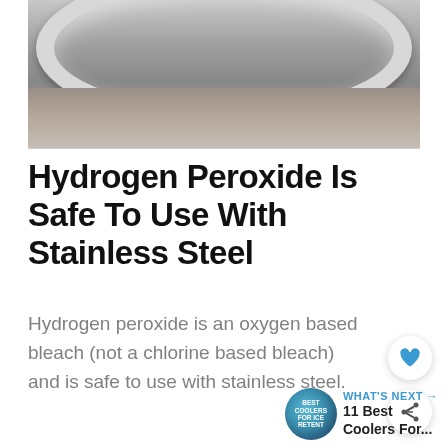[Figure (photo): Close-up photo of a stainless steel bowl or pot sitting on a stone or granite countertop surface, viewed from above showing the rim of the bowl.]
Hydrogen Peroxide Is Safe To Use With Stainless Steel
Hydrogen peroxide is an oxygen based bleach (not a chlorine based bleach) and is safe to use with stainless steel.